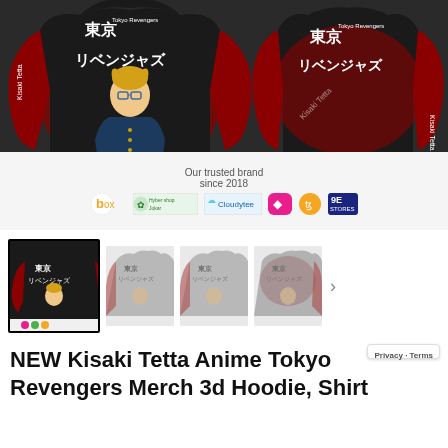[Figure (photo): Two-panel product image of a Tokyo Revengers Kisaki Tetta anime hoodie. Left panel shows front view with anime character print and Japanese text, red and black colorway. Right panel shows back view. Bottom bar shows 'Our trusted brand since 2018' with brand logos: box, Hyber Shop, Cloudytee, and others.]
[Figure (photo): Thumbnail strip showing the same Tokyo Revengers hoodie in multiple views: front selected (highlighted), and three additional angle views faded out. Arrow indicating more images on right.]
NEW Kisaki Tetta Anime Tokyo Revengers Merch 3d Hoodie, Shirt